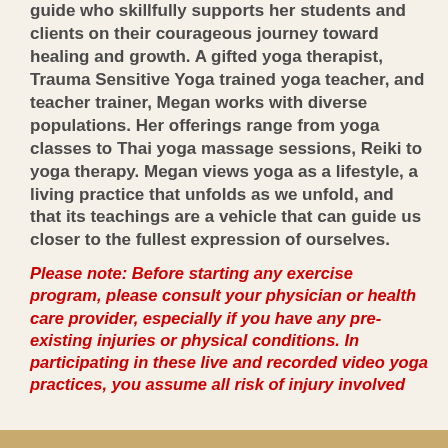guide who skillfully supports her students and clients on their courageous journey toward healing and growth. A gifted yoga therapist, Trauma Sensitive Yoga trained yoga teacher, and teacher trainer, Megan works with diverse populations. Her offerings range from yoga classes to Thai yoga massage sessions, Reiki to yoga therapy. Megan views yoga as a lifestyle, a living practice that unfolds as we unfold, and that its teachings are a vehicle that can guide us closer to the fullest expression of ourselves.
Please note: Before starting any exercise program, please consult your physician or health care provider, especially if you have any pre-existing injuries or physical conditions. In participating in these live and recorded video yoga practices, you assume all risk of injury involved